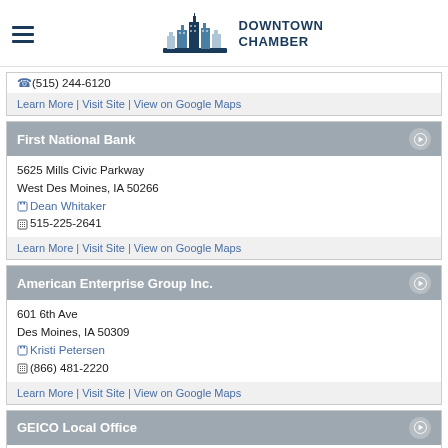Downtown Chamber
(515) 244-6120
Learn More | Visit Site | View on Google Maps
First National Bank
5625 Mills Civic Parkway
West Des Moines, IA 50266
Dean Whitaker
515-225-2641
Learn More | Visit Site | View on Google Maps
American Enterprise Group Inc.
601 6th Ave
Des Moines, IA 50309
Kristi Petersen
(866) 481-2220
Learn More | Visit Site | View on Google Maps
GEICO Local Office
1221 Keosauqua Way STE 104
Des Moines, IA 50309
Justin Krogman
515-318-6307
Learn More | Visit Site